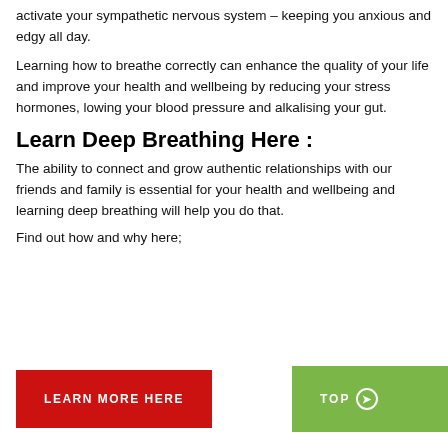activate your sympathetic nervous system – keeping you anxious and edgy all day.
Learning how to breathe correctly can enhance the quality of your life and improve your health and wellbeing by reducing your stress hormones, lowing your blood pressure and alkalising your gut.
Learn Deep Breathing Here :
The ability to connect and grow authentic relationships with our friends and family is essential for your health and wellbeing and learning deep breathing will help you do that.
Find out how and why here;
[Figure (other): Red button labeled LEARN MORE HERE and green button labeled TOP with arrow circle]